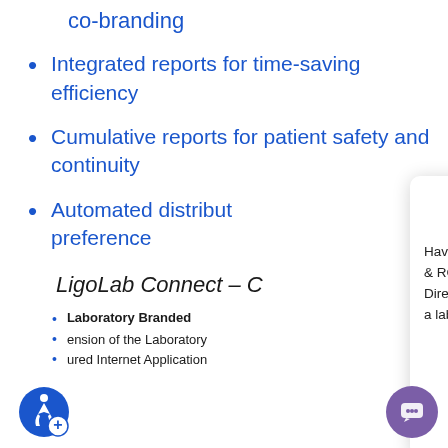co-branding
Integrated reports for time-saving efficiency
Cumulative reports for patient safety and continuity
Automated distribution [partially obscured by popup]
LigoLab Connect – C[partially obscured]
Laboratory Branded
ension of the Laboratory
ured Internet Application
[Figure (screenshot): Chat popup overlay with LigoLab flask icon and text: Have any questions about our LIS & RCM Operating Platform or Direct-to-Consumer Portal? Talk to a laboratory software expert.]
[Figure (screenshot): LigoLab login panel with logo, Login label, User and Password fields]
[Figure (logo): Blue circular accessibility icon (wheelchair symbol with plus sign)]
[Figure (other): Purple circular chat button in bottom right corner]